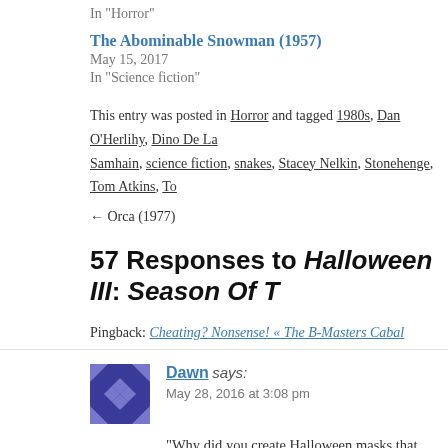In "Horror"
The Abominable Snowman (1957)
May 15, 2017
In "Science fiction"
This entry was posted in Horror and tagged 1980s, Dan O'Herlihy, Dino De La..., Samhain, science fiction, snakes, Stacey Nelkin, Stonehenge, Tom Atkins, To...
← Orca (1977)
57 Responses to Halloween III: Season Of T...
Pingback: Cheating? Nonsense! « The B-Masters Cabal
Dawn says:
May 28, 2016 at 3:08 pm
"Why did you create Halloween masks that would kill... their heads into writhing masses of bugs and snakes?" "Because it's SUPERSTITION!"